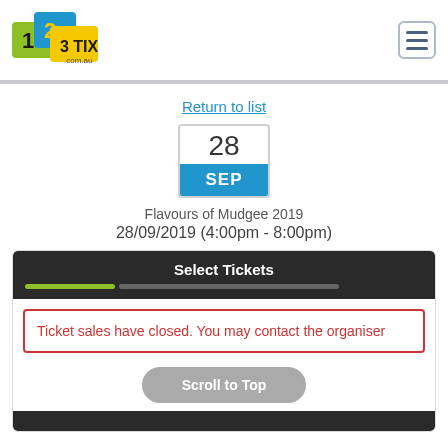[Figure (logo): 123tix.com.au logo with colorful ticket-shaped icons]
Return to list
[Figure (other): Date badge showing 28 SEP]
Flavours of Mudgee 2019
28/09/2019 (4:00pm - 8:00pm)
Select Tickets
Ticket sales have closed. You may contact the organiser
Scroll to Top